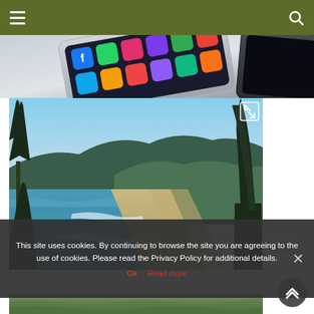Navigation bar with hamburger menu and search icon
[Figure (photo): Smartphone with app icons visible on screen, partial view from above]
[Figure (photo): Aerial coastal landscape photo showing a long sandy beach with ocean waves, evergreen trees in foreground, and forested hills in background. An expand/fullscreen icon is visible in the top right corner.]
This site uses cookies. By continuing to browse the site you are agreeing to the use of cookies. Please read the Privacy Policy for additional details.
Ok   Read more
[Figure (photo): Partial bottom coastal/nature photo strip]